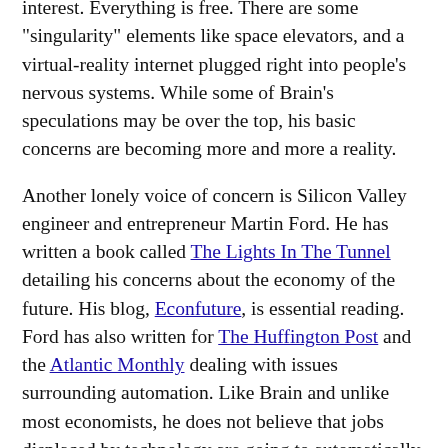interest. Everything is free. There are some 'singularity' elements like space elevators, and a virtual-reality internet plugged right into people's nervous systems. While some of Brain's speculations may be over the top, his basic concerns are becoming more and more a reality.
Another lonely voice of concern is Silicon Valley engineer and entrepreneur Martin Ford. He has written a book called The Lights In The Tunnel detailing his concerns about the economy of the future. His blog, Econfuture, is essential reading. Ford has also written for The Huffington Post and the Atlantic Monthly dealing with issues surrounding automation. Like Brain and unlike most economists, he does not believe that jobs displaced by technology are going to automatically be replaced in other areas:
"The biggest problem with the conventional wisdom is the number of jobs we are talking about. In the U.S. we have a workforce of around 140 million workers. The majority of these jobs are basically routine and repetitive in nature. At a minimum, tens of millions of jobs will be subject to automation, self-service technologies or offshoring. The